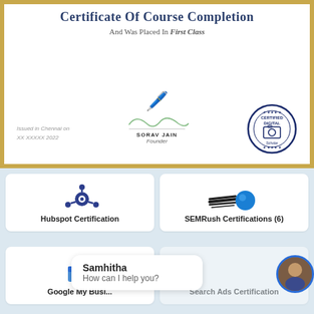[Figure (illustration): Certificate of Course Completion with gold border, signature of Sorav Jain (Founder), stamp reading 'Certified Digital', and text 'Issued in Chennai on XX XXXXX 2022']
Certificate Of Course Completion
And Was Placed In First Class
Issued in Chennai on
XX XXXXX 2022
SORAV JAIN
Founder
[Figure (logo): HubSpot logo - dark blue gear/molecule icon]
Hubspot Certification
[Figure (logo): SEMRush logo - comet/streak icon]
SEMRush Certifications (6)
[Figure (logo): Google My Business logo - blue storefront with G]
Google My Busi...
Search Ads Certification
Samhitha
How can I help you?